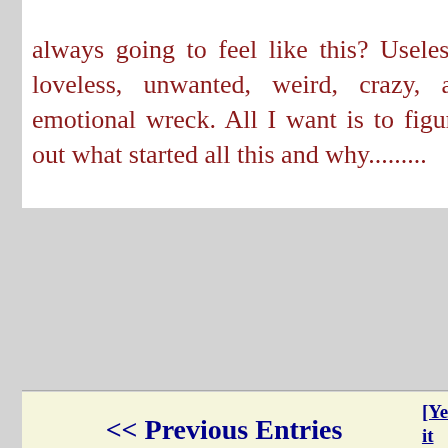always going to feel like this? Useless, loveless, unwanted, weird, crazy, an emotional wreck. All I want is to figure out what started all this and why.........
Comment  Votes: [Yes, it sucks 7] [Not really that bad 0]
<< Previous Entries